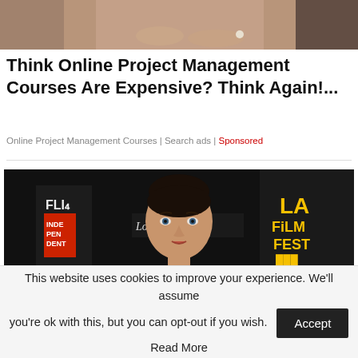[Figure (photo): Partial cropped image of a person, top portion only visible, showing torso area with hands folded]
Think Online Project Management Courses Are Expensive? Think Again!...
Online Project Management Courses | Search ads | Sponsored
[Figure (photo): Woman in a red deep-v dress posing at the LA Film Festival red carpet event, with Los Angeles Times and LA Film Fest banners in the background]
This website uses cookies to improve your experience. We'll assume you're ok with this, but you can opt-out if you wish. Accept Read More